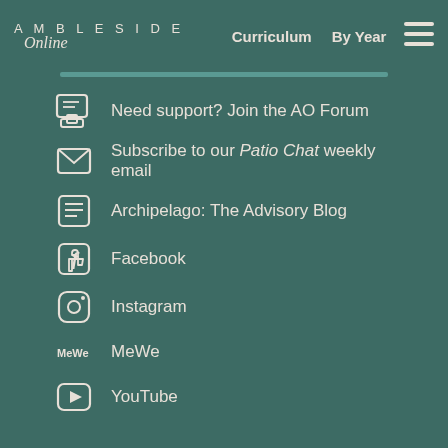AMBLESIDE Online | Curriculum | By Year
Need support? Join the AO Forum
Subscribe to our Patio Chat weekly email
Archipelago: The Advisory Blog
Facebook
Instagram
MeWe
YouTube
TOP OF PAGE